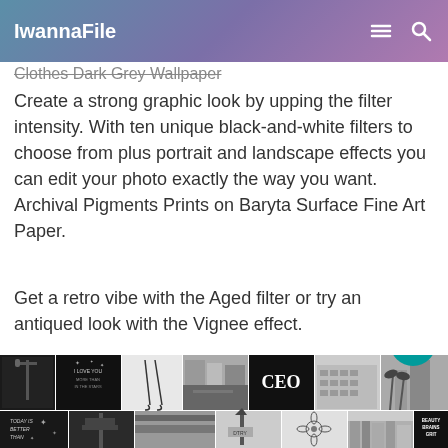IwannaFile
Clothes Dark Grey Wallpaper
Create a strong graphic look by upping the filter intensity. With ten unique black-and-white filters to choose from plus portrait and landscape effects you can edit your photo exactly the way you want. Archival Pigments Prints on Baryta Surface Fine Art Paper.
Get a retro vibe with the Aged filter or try an antiqued look with the Vignee effect.
[Figure (photo): Grid of black-and-white wallpaper images showing various subjects: street lamps, text quotes, legs, city streets, CEO text, buildings, palm trees, and more]